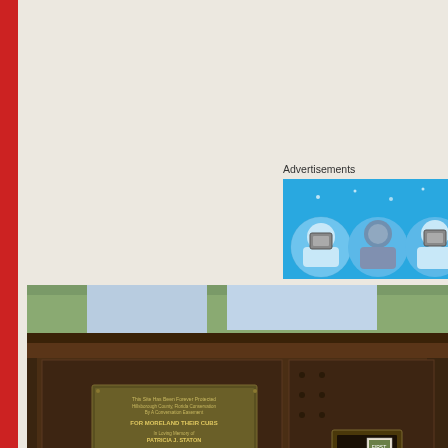Advertisements
[Figure (screenshot): Advertisement banner with blue background showing cartoon-style character icons on circular avatars]
[Figure (photo): Photograph of a dark brown wooden/metal bulletin board or kiosk structure outdoors, with trees in the background. A metal plaque is visible on the front panel with text 'FOR MORELAND THEIR CUBS' and 'PATRICIA J. STATON'. A mail slot with a stamp is visible on the right side.]
Privacy & Cookies: This site uses cookies. By continuing to use this website, you agree to their use.
To find out more, including how to control cookies, see here: Cookie Policy
Close and accept